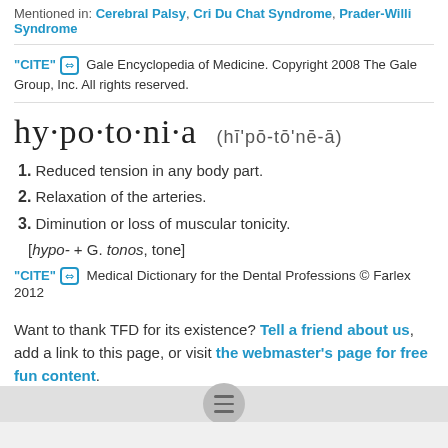Mentioned in: Cerebral Palsy, Cri Du Chat Syndrome, Prader-Willi Syndrome
"CITE" [link icon]  Gale Encyclopedia of Medicine. Copyright 2008 The Gale Group, Inc. All rights reserved.
hy·po·to·ni·a  (hī'pō-tō'nē-ā)
1. Reduced tension in any body part.
2. Relaxation of the arteries.
3. Diminution or loss of muscular tonicity.
[hypo- + G. tonos, tone]
"CITE" [link icon]  Medical Dictionary for the Dental Professions © Farlex 2012
Want to thank TFD for its existence? Tell a friend about us, add a link to this page, or visit the webmaster's page for free fun content.
Link to this page: